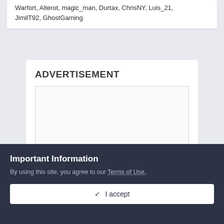Warfort, Alterot, magic_man, Durtax, ChrisNY, Luis_21, JimilT92, GhostGaming
ADVERTISEMENT
[Figure (other): Empty advertisement placeholder box]
Theme ▼
Copyright © 2021 ForgeDevelopment LLC · Ads by Longitude Ads LLC
Important Information
By using this site, you agree to our Terms of Use.
✓ I accept